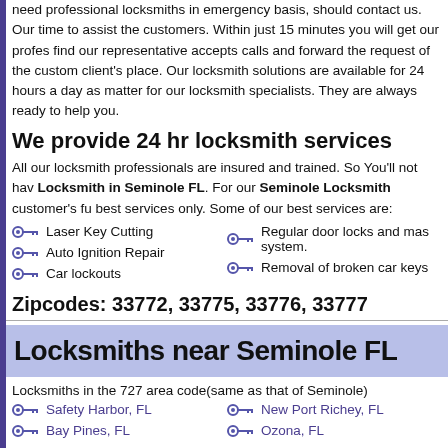need professional locksmiths in emergency basis, should contact us. Our time to assist the customers. Within just 15 minutes you will get our profes find our representative accepts calls and forward the request of the custom client's place. Our locksmith solutions are available for 24 hours a day as matter for our locksmith specialists. They are always ready to help you.
We provide 24 hr locksmith services
All our locksmith professionals are insured and trained. So You'll not ha Locksmith in Seminole FL. For our Seminole Locksmith customer's fu best services only. Some of our best services are:
Laser Key Cutting
Regular door locks and mas system.
Auto Ignition Repair
Car lockouts
Removal of broken car keys
Zipcodes: 33772, 33775, 33776, 33777
Locksmiths near Seminole FL
Locksmiths in the 727 area code(same as that of Seminole)
Safety Harbor, FL
New Port Richey, FL
Bay Pines, FL
Ozona, FL